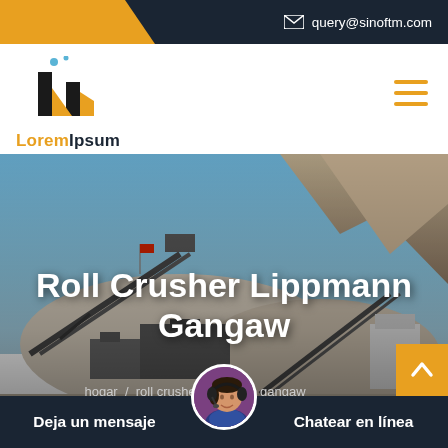query@sinoftm.com
[Figure (logo): LoremIpsum company logo with stylized black and gold 'lm' lettermark and two small dots above]
Roll Crusher Lippmann Gangaw
hogar / roll crusher lippmann gangaw
[Figure (photo): Industrial mining/crushing plant with conveyor belts, large stone aggregate piles, and mountains in background under blue sky]
Deja un mensaje
[Figure (photo): Customer service representative avatar with headset]
Chatear en línea